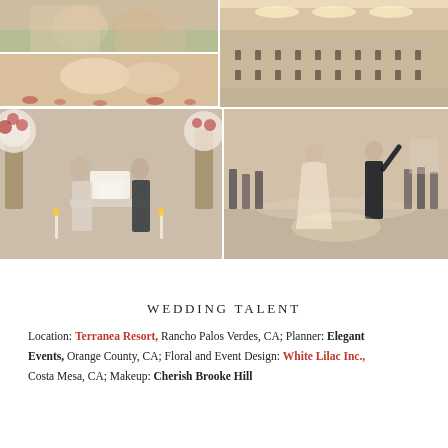[Figure (photo): Grid of five wedding photos: top row shows two smaller photos (Indian couple ceremony outdoors, bride and groom seated with rose petals) and one large photo (elegant reception hall with long tables and chandeliers); bottom row shows two wide photos (couple cutting wedding cake with floral arrangements, and couple's first dance on a dance floor with guests watching).]
WEDDING TALENT
Location: Terranea Resort, Rancho Palos Verdes, CA; Planner: Elegant Events, Orange County, CA; Floral and Event Design: White Lilac Inc., Costa Mesa, CA; Makeup: Cherish Brooke Hill